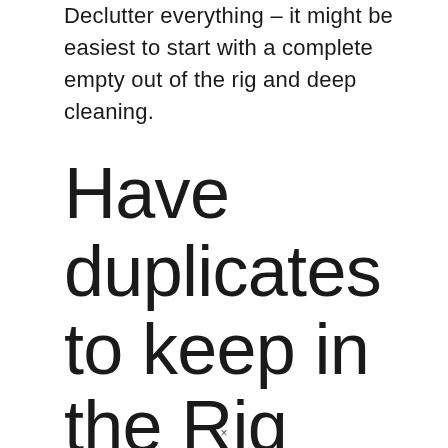Declutter everything – it might be easiest to start with a complete empty out of the rig and deep cleaning.
Have duplicates to keep in the Rig
×